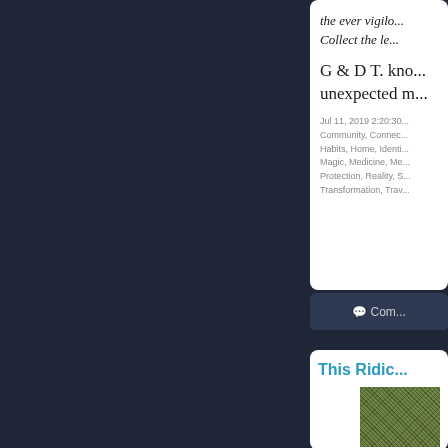the ever vigil… Collect the le…
G & D T. kno… unexpected m…
Jul 11, 2019 2:20:30… Community, Connec… Habits, Home, Identi… Magic, Medicine, Me… Protection, Reality, S… Transformation, Trav…
Com
This Ridic…
[Figure (photo): Mossy or textured outdoor photo, partially visible]